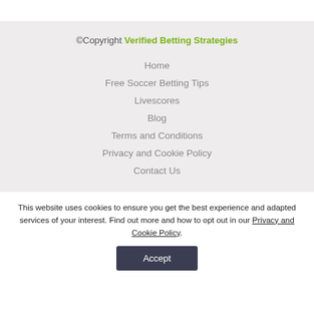©Copyright Verified Betting Strategies
Home
Free Soccer Betting Tips
Livescores
Blog
Terms and Conditions
Privacy and Cookie Policy
Contact Us
This website uses cookies to ensure you get the best experience and adapted services of your interest. Find out more and how to opt out in our Privacy and Cookie Policy.
Accept